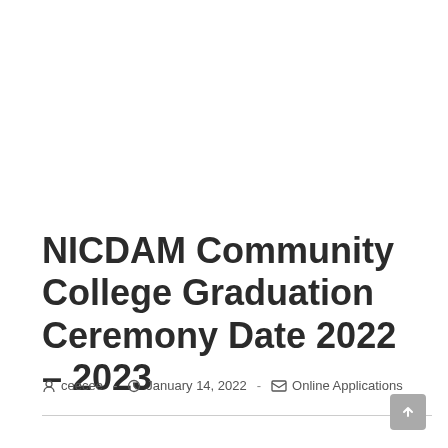NICDAM Community College Graduation Ceremony Date 2022 – 2023
ceecee  -  January 14, 2022  -  Online Applications